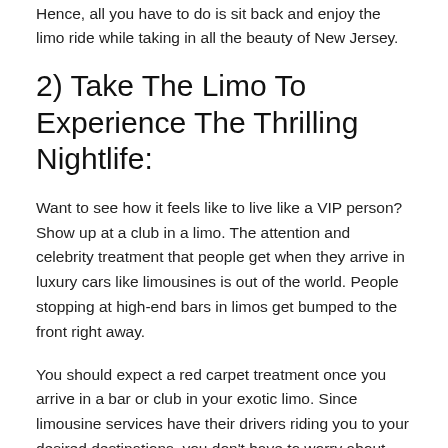Hence, all you have to do is sit back and enjoy the limo ride while taking in all the beauty of New Jersey.
2) Take The Limo To Experience The Thrilling Nightlife:
Want to see how it feels like to live like a VIP person? Show up at a club in a limo. The attention and celebrity treatment that people get when they arrive in luxury cars like limousines is out of the world. People stopping at high-end bars in limos get bumped to the front right away.
You should expect a red carpet treatment once you arrive in a bar or club in your exotic limo. Since limousine services have their drivers riding you to your desired destinations, you don't have to worry about getting lost or parking. Going for